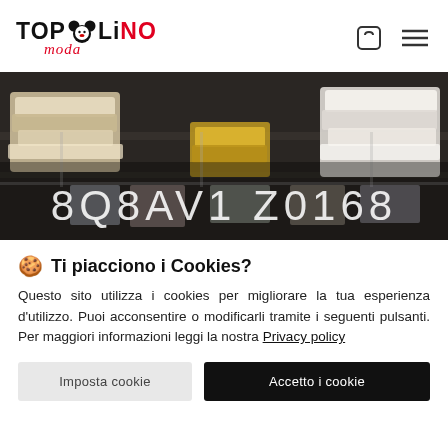TOPOLINO moda — logo with cart and menu icons
[Figure (photo): Dark retail store interior showing folded garments on shelves, with large overlay text '8Q8AV1 Z0168' in white letters]
🍪 Ti piacciono i Cookies?
Questo sito utilizza i cookies per migliorare la tua esperienza d'utilizzo. Puoi acconsentire o modificarli tramite i seguenti pulsanti. Per maggiori informazioni leggi la nostra Privacy policy
Imposta cookie | Accetto i cookie